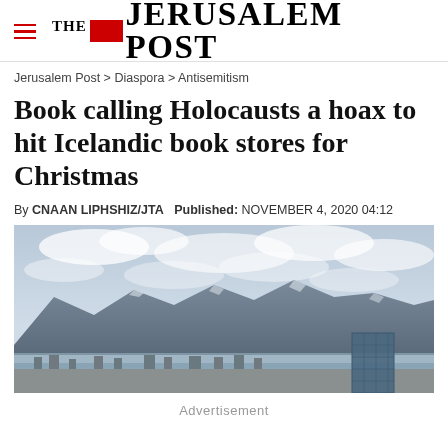THE JERUSALEM POST
Jerusalem Post > Diaspora > Antisemitism
Book calling Holocausts a hoax to hit Icelandic book stores for Christmas
By CNAAN LIPHSHIZ/JTA   Published: NOVEMBER 4, 2020 04:12
[Figure (photo): Aerial or elevated view of Reykjavik, Iceland, showing mountains in the background, cloudy sky, coastline, and a modern building in the foreground.]
Advertisement